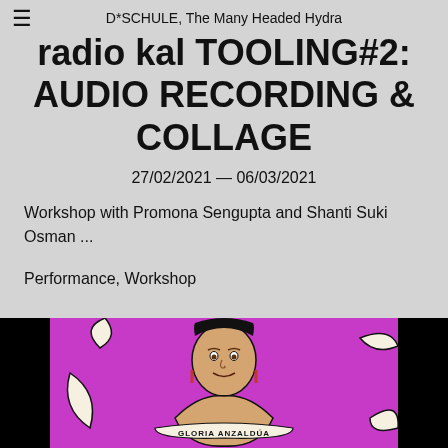D*SCHULE, The Many Headed Hydra
radio kal TOOLING#2: AUDIO RECORDING & COLLAGE
27/02/2021 — 06/03/2021
Workshop with Promona Sengupta and Shanti Suki Osman ...
Performance, Workshop
[Figure (illustration): Illustration of Gloria Anzaldúa depicted as a portrait with crescent moon shapes around her on a magenta/purple background, with text 'GLORIA ANZALDÚA' on a white banner across the bottom.]